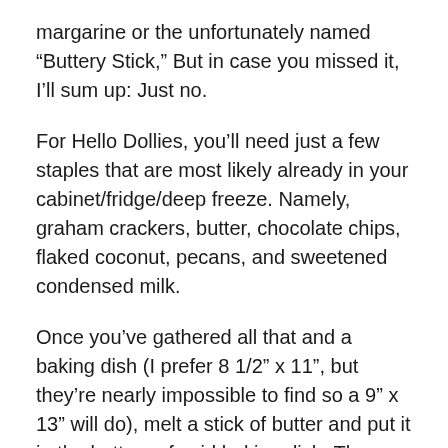margarine or the unfortunately named “Buttery Stick,” But in case you missed it, I’ll sum up: Just no.
For Hello Dollies, you’ll need just a few staples that are most likely already in your cabinet/fridge/deep freeze. Namely, graham crackers, butter, chocolate chips, flaked coconut, pecans, and sweetened condensed milk.
Once you’ve gathered all that and a baking dish (I prefer 8 1/2” x 11”, but they’re nearly impossible to find so a 9” x 13” will do), melt a stick of butter and put it in the bottom of said baking dish. Then crush up about one sleeve of graham crackers and mix them in with the butter to make a crust. I just keep adding more till I get a firm, not too buttery-looking foundation. Then layer on a package of chocolate chips, some shredded coconut (the pre-sweetened kind), and some pecans that have been